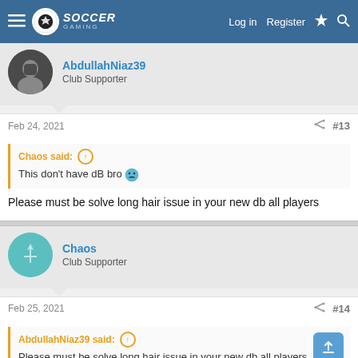Soccer Gaming — Log in | Register
AbdullahNiaz39
Club Supporter
Feb 24, 2021	#13
Chaos said:
This don't have dB bro
Please must be solve long hair issue in your new db all players
Chaos
Club Supporter
Feb 25, 2021	#14
AbdullahNiaz39 said:
Please must be solve long hair issue in your new db all players